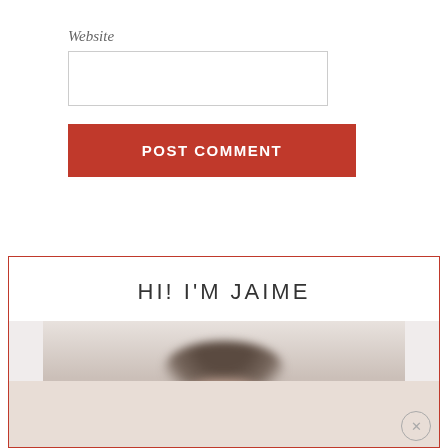Website
POST COMMENT
HI! I'M JAIME
[Figure (photo): Partial photo of a person (Jaime) showing the top of their head with dark hair, blurred/cropped, inside a red-bordered sidebar widget]